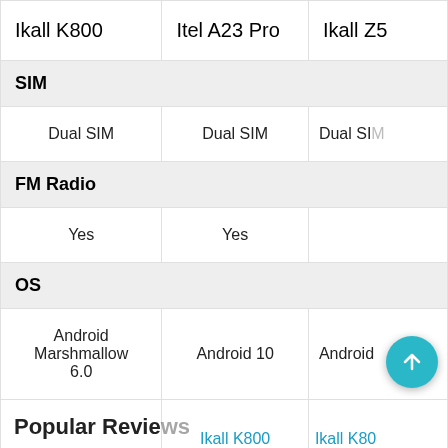| Ikall K800 | Itel A23 Pro | Ikall Z5 |
| --- | --- | --- |
| SIM |  |  |
| Dual SIM | Dual SIM | Dual SI… |
| FM Radio |  |  |
| Yes | Yes |  |
| OS |  |  |
| Android Marshmallow 6.0 | Android 10 | Android… |
|  | Ikall K800 VS Itel A23 Pro | Ikall K800 VS Ikall Z5 |
Popular Reviews